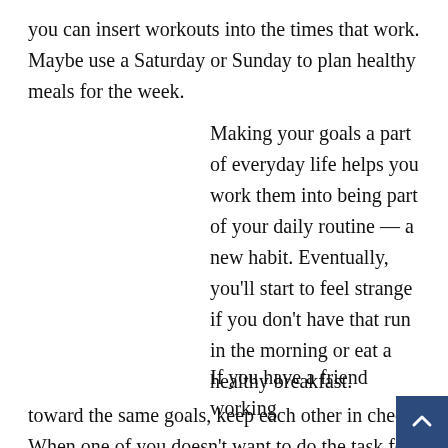you can insert workouts into the times that work. Maybe use a Saturday or Sunday to plan healthy meals for the week.
Making your goals a part of everyday life helps you work them into being part of your daily routine — a new habit. Eventually, you'll start to feel strange if you don't have that run in the morning or eat a healthy breakfast.
If you have a friend working toward the same goals, keep each other in check. When one of you doesn't want to do the task for the day, the other is the motivator. It's easy to skip a day when it's just you, but if you have someone else counting on you, that makes it harder